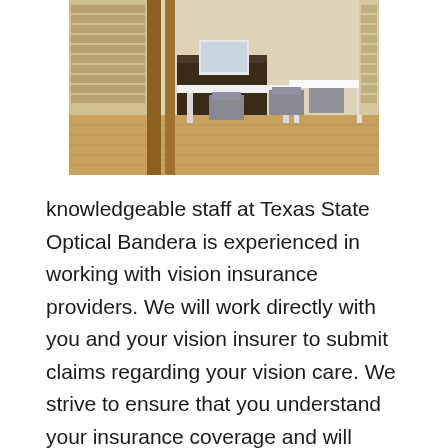[Figure (photo): Interior photo of Texas State Optical Bandera office showing display racks of eyeglasses on the left wall, white tables/desks in the center, gray chairs, and wood-look flooring.]
knowledgeable staff at Texas State Optical Bandera is experienced in working with vision insurance providers. We will work directly with you and your vision insurer to submit claims regarding your vision care. We strive to ensure that you understand your insurance coverage and will answer any questions you may have regarding your benefits. Many current vision plans are designed to cover most of the basic vision-related costs, but not all costs associated with eye care. Most plans often require a co-payment for an office appointment as well as additional costs that